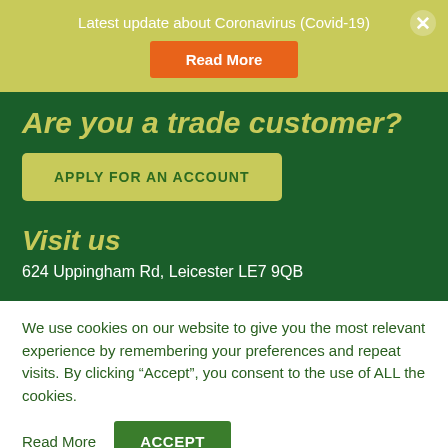Latest update about Coronavirus (Covid-19)
Read More
Are you a trade customer?
APPLY FOR AN ACCOUNT
Visit us
624 Uppingham Rd, Leicester LE7 9QB
We use cookies on our website to give you the most relevant experience by remembering your preferences and repeat visits. By clicking “Accept”, you consent to the use of ALL the cookies.
Read More
ACCEPT